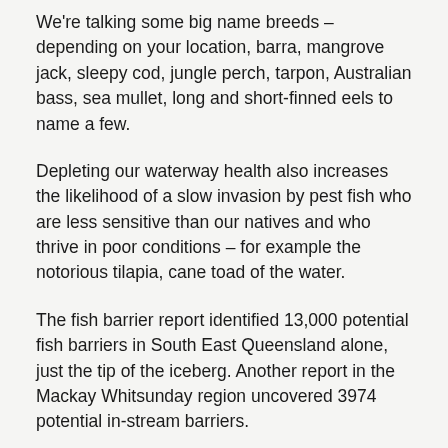We're talking some big name breeds – depending on your location, barra, mangrove jack, sleepy cod, jungle perch, tarpon, Australian bass, sea mullet, long and short-finned eels to name a few.
Depleting our waterway health also increases the likelihood of a slow invasion by pest fish who are less sensitive than our natives and who thrive in poor conditions – for example the notorious tilapia, cane toad of the water.
The fish barrier report identified 13,000 potential fish barriers in South East Queensland alone, just the tip of the iceberg. Another report in the Mackay Whitsunday region uncovered 3974 potential in-stream barriers.
While it's not possible to tackle every barrier, these reports also ranked barriers in order of priority, marking out the top trouble spots to focus on. Here, we introduce you to what fish barriers are and why they matter.
Keep an eye out for part two in this series, which will look at